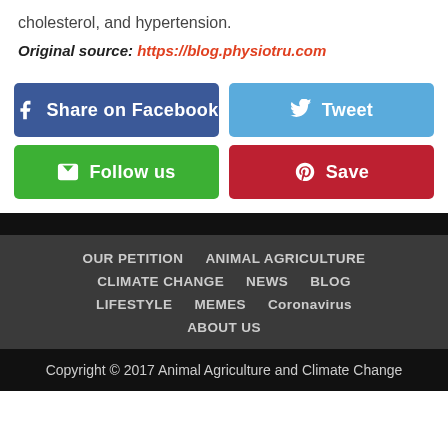cholesterol, and hypertension.
Original source: https://blog.physiotru.com
[Figure (other): Social sharing buttons: Share on Facebook (blue), Tweet (light blue), Follow us (green), Save (red/Pinterest)]
OUR PETITION   ANIMAL AGRICULTURE   CLIMATE CHANGE   NEWS   BLOG   LIFESTYLE   MEMES   Coronavirus   ABOUT US
Copyright © 2017 Animal Agriculture and Climate Change